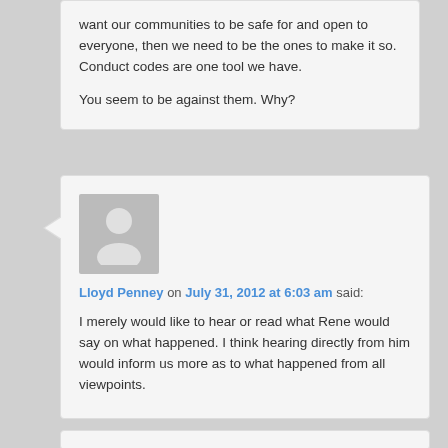want our communities to be safe for and open to everyone, then we need to be the ones to make it so. Conduct codes are one tool we have.

You seem to be against them. Why?
Lloyd Penney on July 31, 2012 at 6:03 am said:
I merely would like to hear or read what Rene would say on what happened. I think hearing directly from him would inform us more as to what happened from all viewpoints.